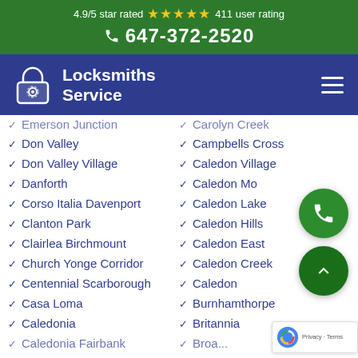4.9/5 star rated ★★★★★ 411 user rating
647-372-2520
[Figure (logo): Locksmiths Service logo with padlock icon on dark blue nav bar]
Emerson Junction (partially visible)
Carolyn Creek (partially visible)
Don Valley
Campbells Cross
Don Valley Village
Caledon Village
Danforth
Caledon Mo (partially obscured)
Corso Italia Davenport
Caledon Lake (partially obscured)
Clanton Park
Caledon Hills
Clairlea Birchmount
Caledon East (partially obscured)
Church Yonge Corridor
Caledon Creek
Centennial Scarborough
Caledon
Casa Loma
Burnhamthorpe
Caledonia
Britannia
Caledonia Fairbank (partially visible)
Broa... (partially visible)